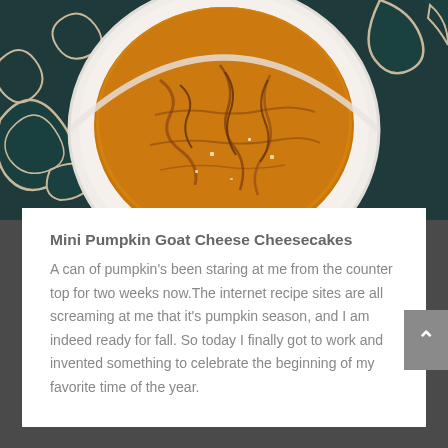[Figure (photo): Overhead view of a mini pumpkin cheesecake in a white ramekin, placed on a dark teal decorative plate with floral/scroll patterns. The cheesecake has a golden-orange top with cracks, drizzled with caramel or spice glaze.]
Mini Pumpkin Goat Cheese Cheesecakes
A can of pumpkin's been staring at me from the counter top for two weeks now.The internet recipe sites are all screaming at me that it's pumpkin season, and I am indeed ready for fall. So today I finally got to work and invented something to celebrate the beginning of my favorite time of the year.